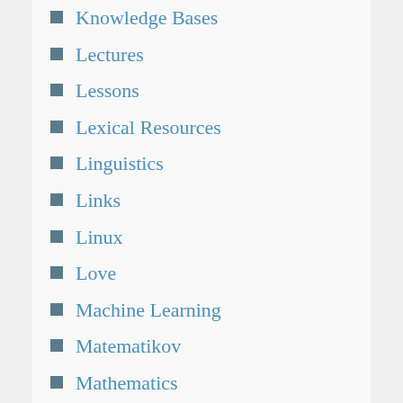Knowledge Bases
Lectures
Lessons
Lexical Resources
Linguistics
Links
Linux
Love
Machine Learning
Matematikov
Mathematics
Media
Movies
Music
Natural Language Processing